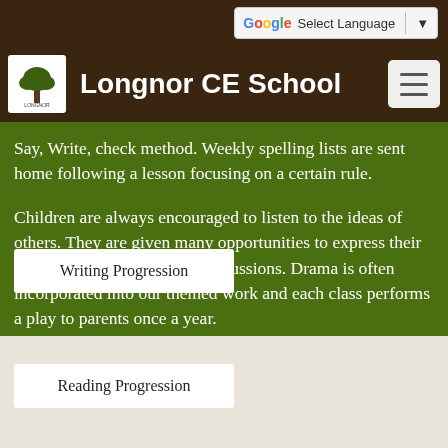Select Language
Longnor CE School
Say, Write, check method. Weekly spelling lists are sent home following a lesson focusing on a certain rule.
Children are always encouraged to listen to the ideas of others. They are given many opportunities to express their own opinions and share in discussions. Drama is often incorporated into our themed work and each class performs a play to parents once a year.
Writing Progression
Reading Progression